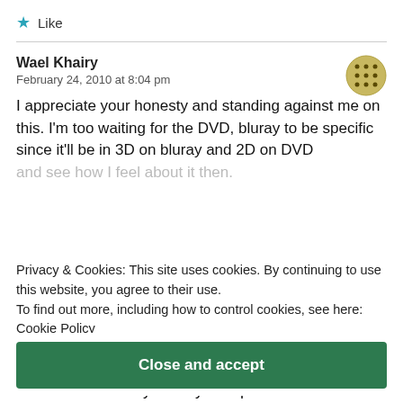★ Like
Wael Khairy
February 24, 2010 at 8:04 pm
I appreciate your honesty and standing against me on this. I'm too waiting for the DVD, bluray to be specific since it'll be in 3D on bluray and 2D on DVD and see how I feel about it then.
Privacy & Cookies: This site uses cookies. By continuing to use this website, you agree to their use.
To find out more, including how to control cookies, see here:
Cookie Policy
Close and accept
hates which is why I find your opinion so